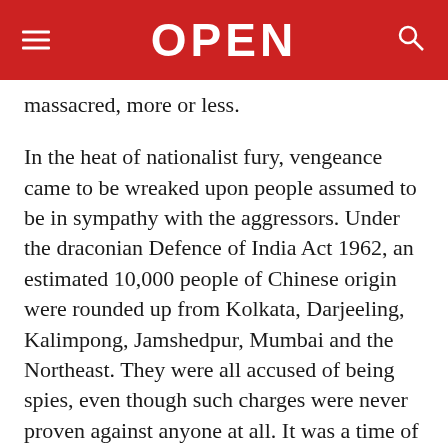OPEN
massacred, more or less.
In the heat of nationalist fury, vengeance came to be wreaked upon people assumed to be in sympathy with the aggressors. Under the draconian Defence of India Act 1962, an estimated 10,000 people of Chinese origin were rounded up from Kolkata, Darjeeling, Kalimpong, Jamshedpur, Mumbai and the Northeast. They were all accused of being spies, even though such charges were never proven against anyone at all. It was a time of paranoia—and incidentally, Jyoti Basu and some